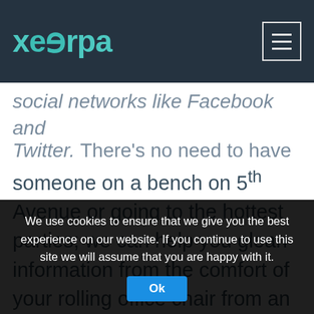xeerpa [logo] [menu button]
social networks like Facebook and Twitter. There's no need to have someone on a bench on 5th Avenue or going to the hottest parties; we can help you glean information from the comfort of your rolling office chair from an infinitely larger sample.
How can Xeerpa help a clothing company tweak its relationship management and get a better look at
We use cookies to ensure that we give you the best experience on our website. If you continue to use this site we will assume that you are happy with it.
Ok